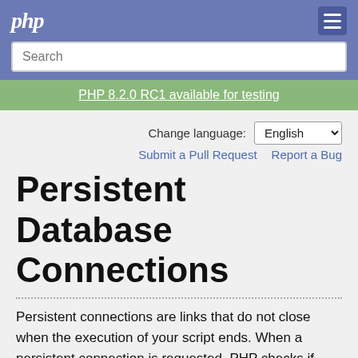php
Search
PHP 8.2.0 RC1 available for testing
Change language: English
Submit a Pull Request   Report a Bug
Persistent Database Connections
Persistent connections are links that do not close when the execution of your script ends. When a persistent connection is requested, PHP checks if there's already an identical persistent connection (that remained open from earlier) - and if it exists, it uses it. If it does not exist, it creates the link. An